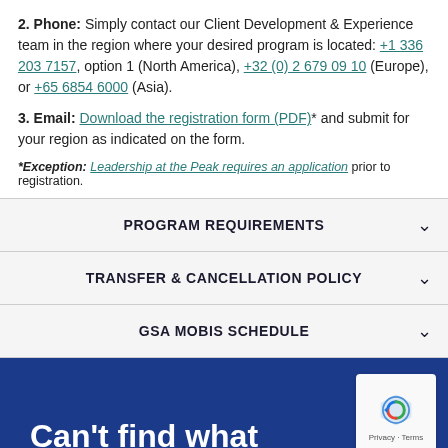2. Phone: Simply contact our Client Development & Experience team in the region where your desired program is located: +1 336 203 7157, option 1 (North America), +32 (0) 2 679 09 10 (Europe), or +65 6854 6000 (Asia).
3. Email: Download the registration form (PDF)* and submit for your region as indicated on the form.
*Exception: Leadership at the Peak requires an application prior to registration.
PROGRAM REQUIREMENTS
TRANSFER & CANCELLATION POLICY
GSA MOBIS SCHEDULE
Can't find what